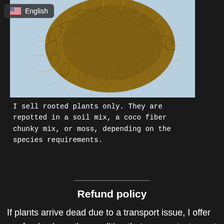[Figure (photo): Close-up photo of a plant root ball with fibrous brown roots, against a light blue/white background. A US flag and 'English' language selector is overlaid in the top-left corner.]
I sell rooted plants only. They are repotted in a soil mix, a coco fiber chunky mix, or moss, depending on the species requirements.
Refund policy
If plants arrive dead due to a transport issue, I offer a refund only on the condition that you contact me at info@begoniaflora.com with PHOTOS of the BOX and